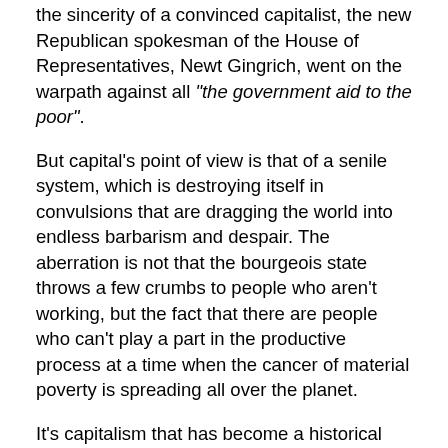the sincerity of a convinced capitalist, the new Republican spokesman of the House of Representatives, Newt Gingrich, went on the warpath against all "the government aid to the poor".
But capital's point of view is that of a senile system, which is destroying itself in convulsions that are dragging the world into endless barbarism and despair. The aberration is not that the bourgeois state throws a few crumbs to people who aren't working, but the fact that there are people who can't play a part in the productive process at a time when the cancer of material poverty is spreading all over the planet.
It's capitalism that has become a historical aberration. The current 'recovery' without jobs is further confirmation of this. The only real 'medicine' for the economic organization of society is the destruction of capitalism itself, the inauguration of a society where the objective of production is no longer profit, the return on capital, but the pure and simple satisfaction of human needs.
**********
"It goes without saying that political economy only considers the proletarian as a worker; he is the one who